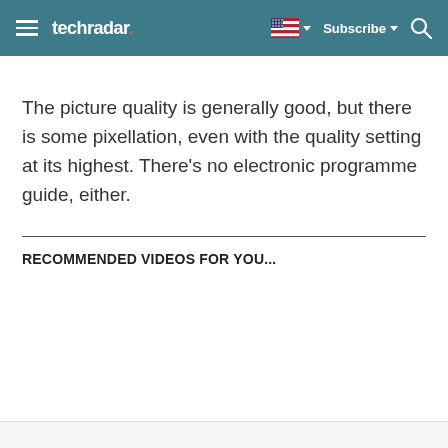techradar
The picture quality is generally good, but there is some pixellation, even with the quality setting at its highest. There’s no electronic programme guide, either.
RECOMMENDED VIDEOS FOR YOU...